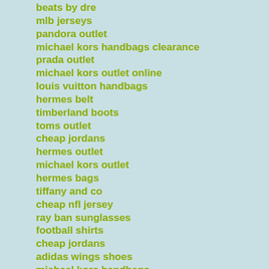beats by dre
mlb jerseys
pandora outlet
michael kors handbags clearance
prada outlet
michael kors outlet online
louis vuitton handbags
hermes belt
timberland boots
toms outlet
cheap jordans
hermes outlet
michael kors outlet
hermes bags
tiffany and co
cheap nfl jersey
ray ban sunglasses
football shirts
cheap jordans
adidas wings shoes
michael kors handbags
michael kors outlet
nfl jerseys